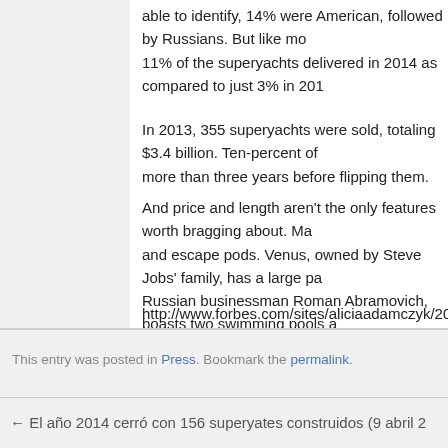able to identify, 14% were American, followed by Russians. But like mo 11% of the superyachts delivered in 2014 as compared to just 3% in 201
In 2013, 355 superyachts were sold, totaling $3.4 billion. Ten-percent of more than three years before flipping them.
And price and length aren't the only features worth bragging about. Ma and escape pods. Venus, owned by Steve Jobs' family, has a large pa Russian businessman Roman Abramovich, boasts two swimming pools a Other notable superyacht owners mentioned in the report include directo Elena Ambrosiadou
http://www.forbes.com/sites/aliciaadamczyk/2015/04/08/how-much-does
This entry was posted in Press. Bookmark the permalink.
← El año 2014 cerró con 156 superyates construidos (9 abril 2